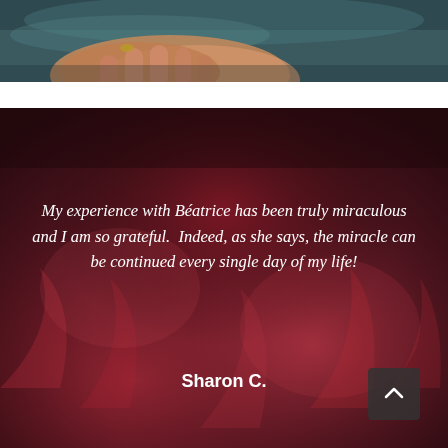[Figure (photo): Top portion of a photo showing hands holding something, with a teal/dark background. Only the lower portion of the image is visible.]
[Figure (photo): Dark red/maroon flame-textured background card with a testimonial quote in white italic text and attribution 'Sharon C.' A dark rounded square scroll-to-top button with a chevron-up arrow is in the bottom-right corner.]
My experience with Béatrice has been truly miraculous and I am so grateful.  Indeed, as she says, the miracle can be continued every single day of my life!
Sharon C.